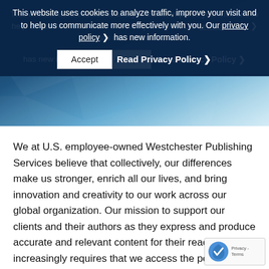This website uses cookies to analyze traffic, improve your visit and to help us communicate more effectively with you. Our privacy policy ❯ has new information. [Accept] [Read Privacy Policy ❯]
[Figure (photo): Blue geometric/polygonal hero banner background with gradient from dark navy blue on the left to light blue and near-white on the right, featuring triangular facets.]
We at U.S. employee-owned Westchester Publishing Services believe that collectively, our differences make us stronger, enrich all our lives, and bring innovation and creativity to our work across our global organization. Our mission to support our clients and their authors as they express and produce accurate and relevant content for their readers increasingly requires that we access the perspectives and voices that people from various backgrounds and experiences can provide. We comm the fostering a culture of inclusion and...